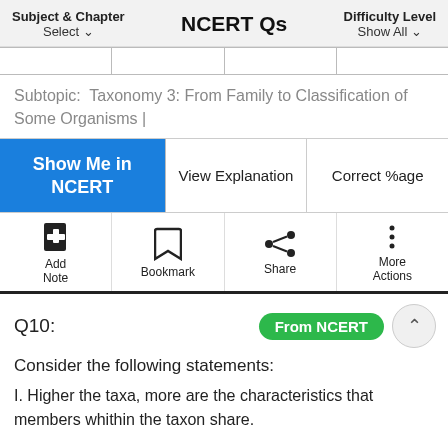Subject & Chapter Select ∨   NCERT Qs   Difficulty Level Show All ∨
Subtopic:  Taxonomy 3: From Family to Classification of Some Organisms |
Show Me in NCERT | View Explanation | Correct %age
Add Note | Bookmark | Share | More Actions
Q10:
From NCERT
Consider the following statements:
I. Higher the taxa, more are the characteristics that members whithin the taxon share.